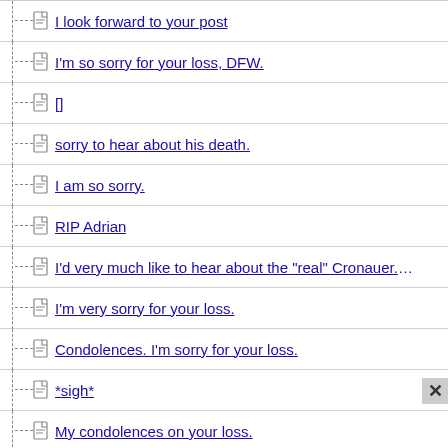I look forward to your post
I'm so sorry for your loss, DFW.
[]
sorry to hear about his death.
I am so sorry.
RIP Adrian
I'd very much like to hear about the "real" Cronauer.. His portrayal
I'm very sorry for your loss.
Condolences. I'm sorry for your loss.
*sigh*
My condolences on your loss.
As one who worships the real DJ's of that era
I'm so sorry.
I was very sorry to hear about Adrian Cronauer
I'm so sorry.
I was a DJ in Vietnam a bit later.. Sincere condolences. He was a
Sorry for your loss, DFW.
My sympathies, DFW.
R.I.P. Adrian Cronauer, a radio friend to our troups serving in
Condolences,DFW on the loss of your friend.